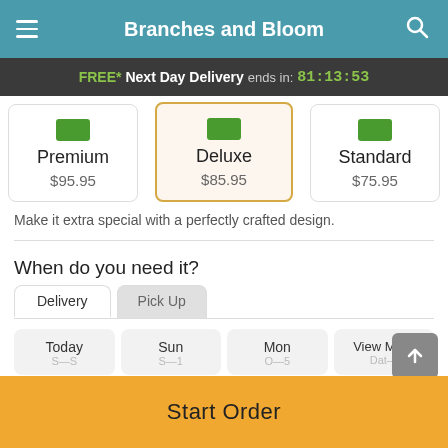Branches and Bloom
FREE* Next Day Delivery ends in: 81:13:53
Premium $95.95 | Deluxe $85.95 | Standard $75.95
Make it extra special with a perfectly crafted design.
When do you need it?
Delivery | Pick Up
Today | Sun | Mon | View More Dates